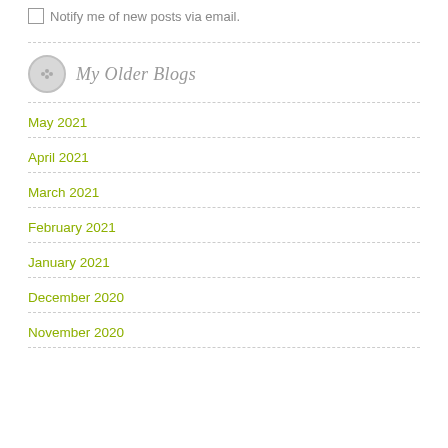Notify me of new posts via email.
My Older Blogs
May 2021
April 2021
March 2021
February 2021
January 2021
December 2020
November 2020